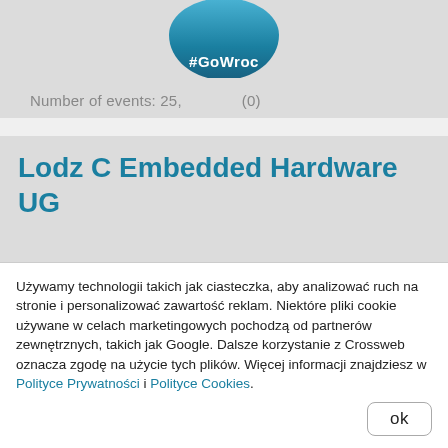[Figure (logo): Circular logo with #GoWroc hashtag in white text on blue/teal background]
Number of events: 25,    (0)
Lodz C Embedded Hardware UG
Używamy technologii takich jak ciasteczka, aby analizować ruch na stronie i personalizować zawartość reklam. Niektóre pliki cookie używane w celach marketingowych pochodzą od partnerów zewnętrznych, takich jak Google. Dalsze korzystanie z Crossweb oznacza zgodę na użycie tych plików. Więcej informacji znajdziesz w Polityce Prywatności i Polityce Cookies.